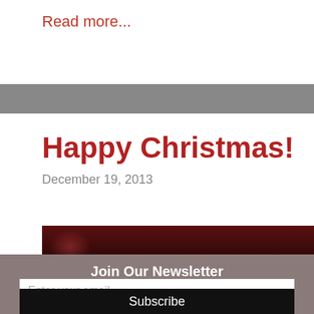Read more...
Happy Christmas!
December 19, 2013
[Figure (photo): Dark red Christmas image, partially visible at bottom of content area]
Join Our Newsletter
Enter your email
Subscribe